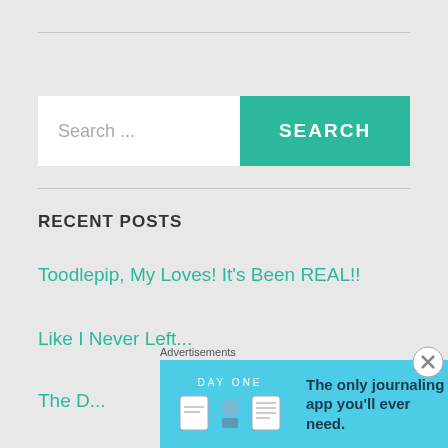[Figure (screenshot): Search bar with text 'Search ...' input field and teal SEARCH button]
RECENT POSTS
Toodlepip, My Loves! It's Been REAL!!
Like I Never Left...
The D...
Advertisements
[Figure (infographic): DAY ONE app advertisement - The only journaling app you'll ever need. Light blue background with app icons.]